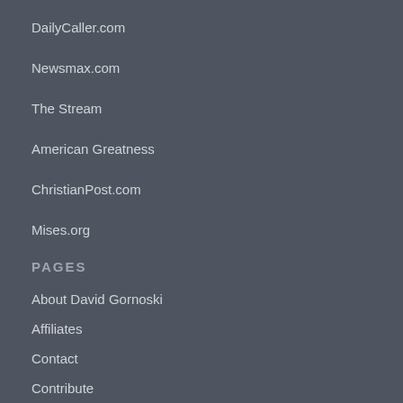DailyCaller.com
Newsmax.com
The Stream
American Greatness
ChristianPost.com
Mises.org
PAGES
About David Gornoski
Affiliates
Contact
Contribute
Essays